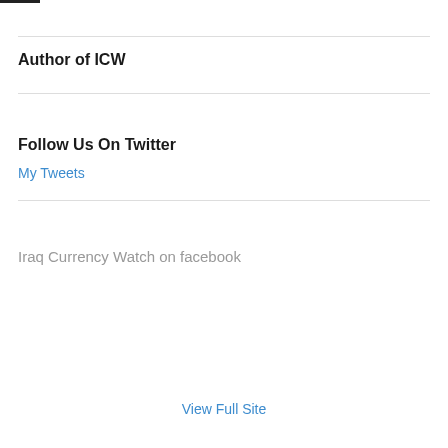Author of ICW
Follow Us On Twitter
My Tweets
Iraq Currency Watch on facebook
View Full Site